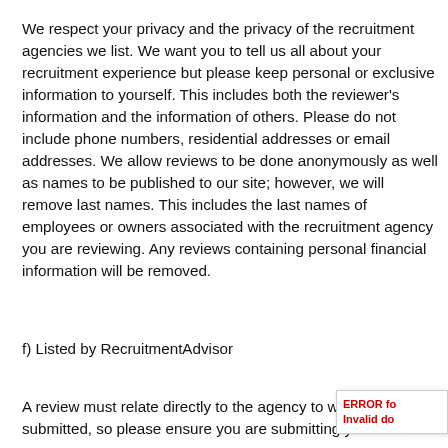We respect your privacy and the privacy of the recruitment agencies we list. We want you to tell us all about your recruitment experience but please keep personal or exclusive information to yourself. This includes both the reviewer's information and the information of others. Please do not include phone numbers, residential addresses or email addresses. We allow reviews to be done anonymously as well as names to be published to our site; however, we will remove last names. This includes the last names of employees or owners associated with the recruitment agency you are reviewing. Any reviews containing personal financial information will be removed.
f) Listed by RecruitmentAdvisor
A review must relate directly to the agency to which it is submitted, so please ensure you are submitting your review
ERROR fo
Invalid do